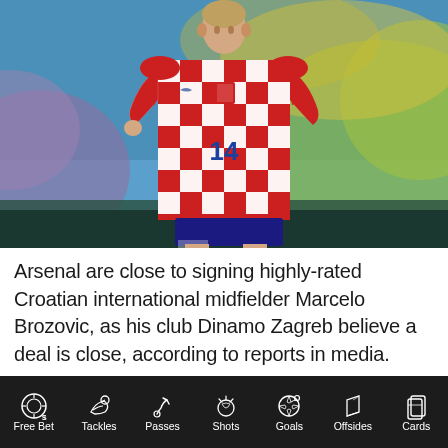[Figure (photo): Croatian international footballer Marcelo Brozovic wearing the red and white checkered Croatia national team jersey number 14, running during a match with a crowd in the background.]
Arsenal are close to signing highly-rated Croatian international midfielder Marcelo Brozovic, as his club Dinamo Zagreb believe a deal is close, according to reports in media.
Free Bet | Tackles | Passes | Shots | Goals | Offsides | Cards